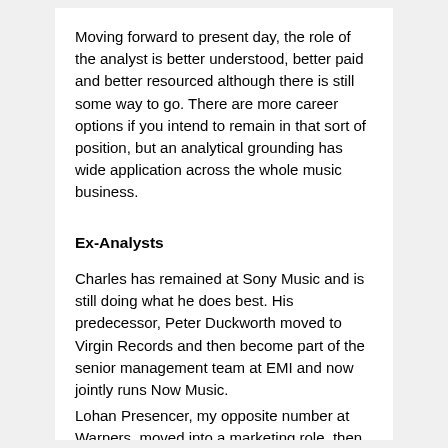Moving forward to present day, the role of the analyst is better understood, better paid and better resourced although there is still some way to go. There are more career options if you intend to remain in that sort of position, but an analytical grounding has wide application across the whole music business.
Ex-Analysts
Charles has remained at Sony Music and is still doing what he does best. His predecessor, Peter Duckworth moved to Virgin Records and then become part of the senior management team at EMI and now jointly runs Now Music.
Lohan Presencer, my opposite number at Warners, moved into a marketing role, then to Ministry where he is now CEO. One of the smartest deal makers I know.
Emma Drew (nee Sharma), my opposite number at